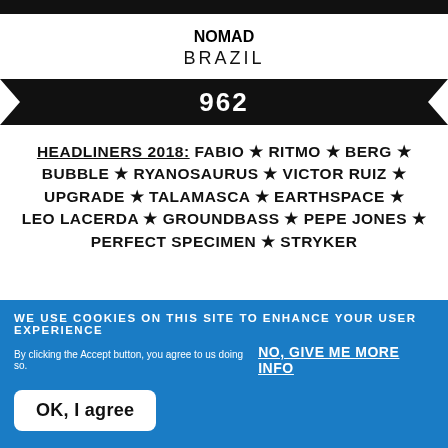NOMAD
BRAZIL
962
HEADLINERS 2018: FABIO ★ RITMO ★ BERG ★ BUBBLE ★ RYANOSAURUS ★ VICTOR RUIZ ★ UPGRADE ★ TALAMASCA ★ EARTHSPACE ★ LEO LACERDA ★ GROUNDBASS ★ PEPE JONES ★ PERFECT SPECIMEN ★ STRYKER
WE USE COOKIES ON THIS SITE TO ENHANCE YOUR USER EXPERIENCE
By clicking the Accept button, you agree to us doing so.  NO, GIVE ME MORE INFO
OK, I agree